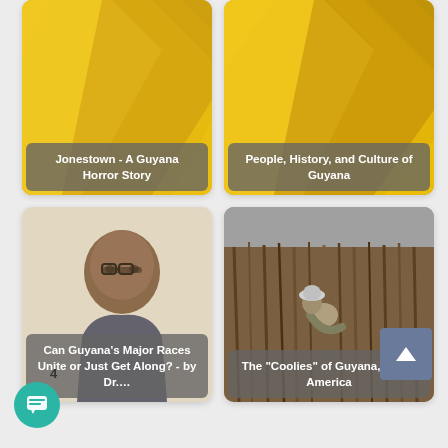[Figure (photo): Card with yellow abstract/folded paper background image with overlay text: Jonestown - A Guyana Horror Story]
[Figure (photo): Card with yellow abstract/folded paper background image with overlay text: People, History, and Culture of Guyana]
[Figure (photo): Card with portrait photo of a man with glasses with overlay text: Can Guyana's Major Races Unite or Just Get Along? - by Dr....]
[Figure (photo): Card with outdoor field/sugarcane photo with a person bending down, overlay text: The "Coolies" of Guyana, South America]